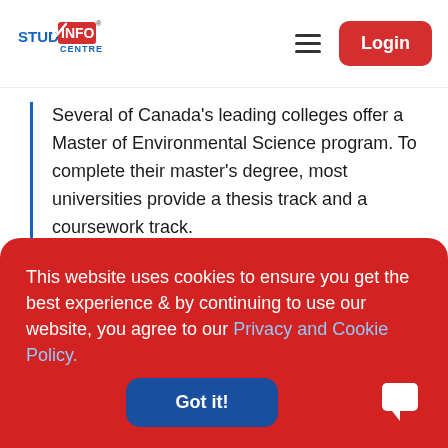[Figure (logo): Study Info Centre logo with red and blue branding]
Several of Canada's leading colleges offer a Master of Environmental Science program. To complete their master's degree, most universities provide a thesis track and a coursework track.
Some colleges also offer a Master of Arts in Environmental Science, in addition to the
This website uses cookies to ensure you get the best experience & by continuing to use our website, you agree to our Privacy and Cookie Policy.